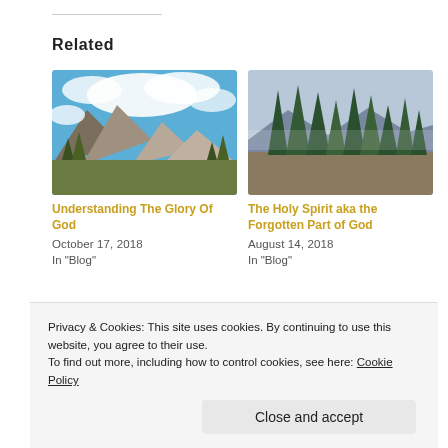Related
[Figure (photo): Mountain landscape with dramatic blue sky and white clouds, rocky peaks and trees in foreground]
Understanding The Glory Of God
October 17, 2018
In "Blog"
[Figure (photo): Forest of tall evergreen pine trees on hillside with overcast sky and mountains in background]
The Holy Spirit aka the Forgotten Part of God
August 14, 2018
In "Blog"
[Figure (photo): Blue lake with mountains in background and tree branches in foreground under blue sky]
Privacy & Cookies: This site uses cookies. By continuing to use this website, you agree to their use.
To find out more, including how to control cookies, see here: Cookie Policy
Close and accept